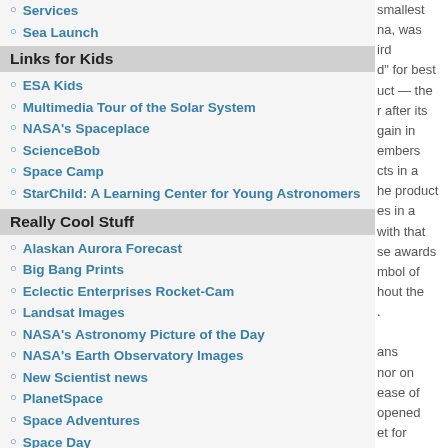Services
Sea Launch
Links for Kids
ESA Kids
Multimedia Tour of the Solar System
NASA's Spaceplace
ScienceBob
Space Camp
StarChild: A Learning Center for Young Astronomers
Really Cool Stuff
Alaskan Aurora Forecast
Big Bang Prints
Eclectic Enterprises Rocket-Cam
Landsat Images
NASA's Astronomy Picture of the Day
NASA's Earth Observatory Images
New Scientist news
PlanetSpace
Space Adventures
Space Day
Space Travel Company
Virgin Galactic
What does the earth look